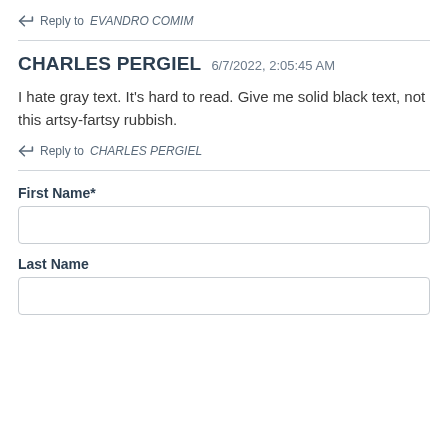↩ Reply to EVANDRO COMIM
CHARLES PERGIEL 6/7/2022, 2:05:45 AM
I hate gray text. It's hard to read. Give me solid black text, not this artsy-fartsy rubbish.
↩ Reply to CHARLES PERGIEL
First Name*
Last Name